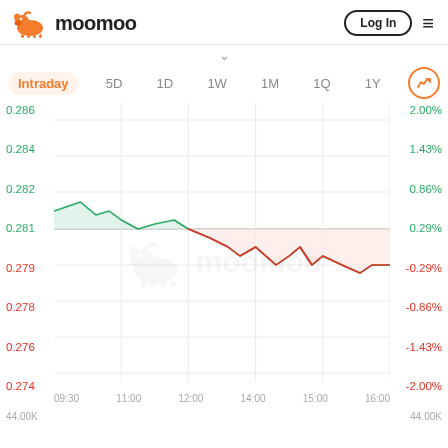moomoo — Log In
[Figure (line-chart): Intraday stock chart]